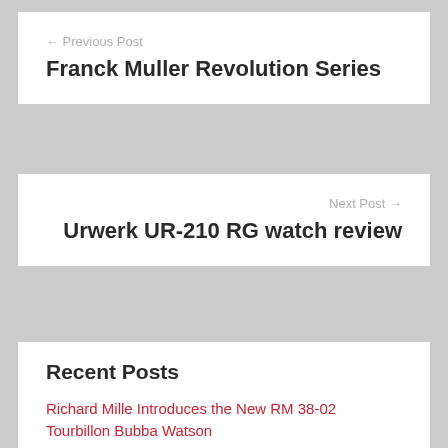← Previous Post
Franck Muller Revolution Series
Next Post →
Urwerk UR-210 RG watch review
Recent Posts
Richard Mille Introduces the New RM 38-02 Tourbillon Bubba Watson
Three-Way Travel Chronograph: Patek Philippe World Time Chronograph 5930P